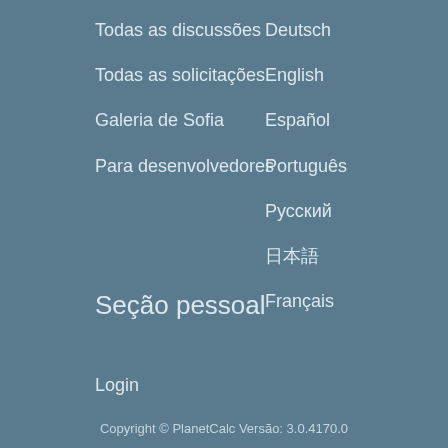Todas as discussões
Todas as solicitações
Galeria de Sofia
Para desenvolvedores
Deutsch
English
Español
Português
Русский
日本語
Français
Seção pessoal
Login
Copyright © PlanetCalc Versão: 3.0.4170.0